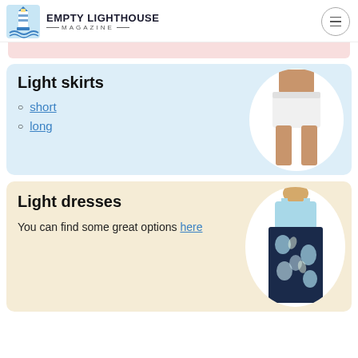EMPTY LIGHTHOUSE MAGAZINE
[Figure (illustration): Light skirts product card with image of white mini skirt on circular white background]
Light skirts
short
long
[Figure (illustration): Light dresses product card with image of woman in floral maxi dress on circular white background]
Light dresses
You can find some great options here